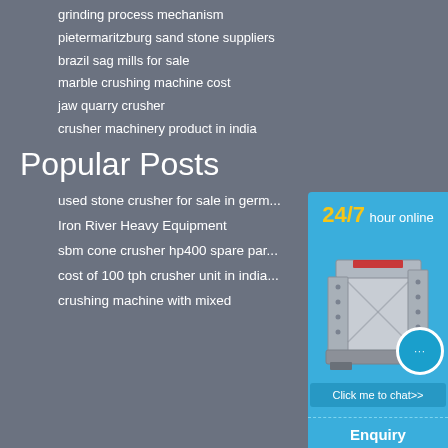grinding process mechanism
pietermaritzburg sand stone suppliers
brazil sag mills for sale
marble crushing machine cost
jaw quarry crusher
crusher machinery product in india
Popular Posts
used stone crusher for sale in germ...
Iron River Heavy Equipment
sbm cone crusher hp400 spare par...
cost of 100 tph crusher unit in india...
crushing machine with mixed
[Figure (infographic): Blue sidebar widget showing '24/7 hour online' text, an image of a jaw crusher machine, a chat bubble icon with ellipsis, a 'Click me to chat>>' button, a dashed divider, 'Enquiry' text, another dashed divider, and 'limingjlmofen' text.]